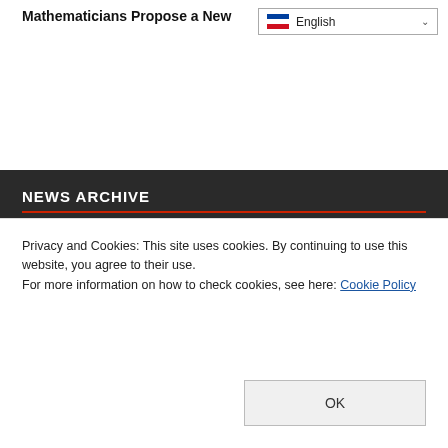Mathematicians Propose a New
English
NEWS ARCHIVE
AUGUST 2020
| P | S | Ç | P | C | C | P |
| --- | --- | --- | --- | --- | --- | --- |
|  |  |  |  |  | 1 | 2 |
| 3 | 4 | 5 | 6 | 7 | 8 | 9 |
| 10 | 11 | 12 | 13 | 14 | 15 | 16 |
Privacy and Cookies: This site uses cookies. By continuing to use this website, you agree to their use.
For more information on how to check cookies, see here: Cookie Policy
OK
FREE EMAIL SUBSCRIPTION